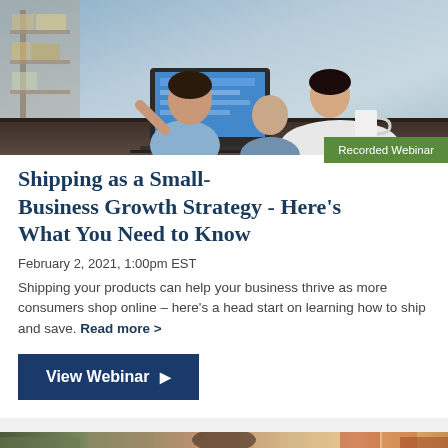[Figure (photo): Warehouse office scene with people at a laptop, a yellow hard hat visible in the lower left, workers in a warehouse setting]
Recorded Webinar
Shipping as a Small-Business Growth Strategy - Here's What You Need to Know
February 2, 2021, 1:00pm EST
Shipping your products can help your business thrive as more consumers shop online – here's a head start on learning how to ship and save. Read more >
View Webinar ▶
[Figure (photo): Partial view of a person at the bottom of the page, teaser for next card]